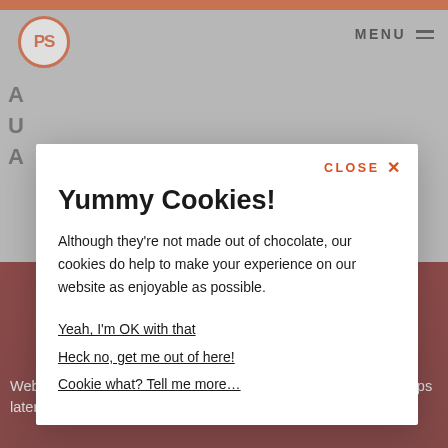[Figure (screenshot): Website screenshot showing a PS logo (orange circle with PS letters) in top left, MENU text with parallel bar icon in top right, dark red background section at bottom with white text, and a cookie consent modal dialog overlaid on the page.]
Yummy Cookies!
Although they're not made out of chocolate, our cookies do help to make your experience on our website as enjoyable as possible.
Yeah, I'm OK with that
Heck no, get me out of here!
Cookie what? Tell me more…
Website, digital marketing and scoffing 1000's of packets of crisps later... we've delivered some